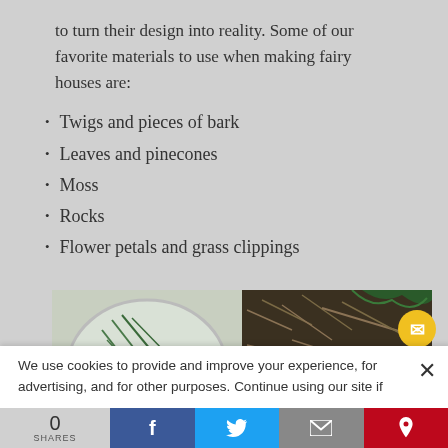to turn their design into reality. Some of our favorite materials to use when making fairy houses are:
Twigs and pieces of bark
Leaves and pinecones
Moss
Rocks
Flower petals and grass clippings
[Figure (photo): Photo showing nature materials for fairy houses: pine needles and a pinecone in a plastic container on the left, pine needles and twigs on the ground on the right.]
We use cookies to provide and improve your experience, for advertising, and for other purposes. Continue using our site if